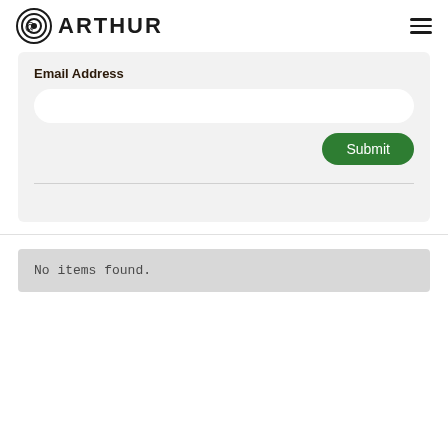Arthur (logo + hamburger menu)
Email Address
[Figure (screenshot): Empty email address input field with white rounded background]
[Figure (screenshot): Green Submit button with white text, rounded pill shape]
No items found.